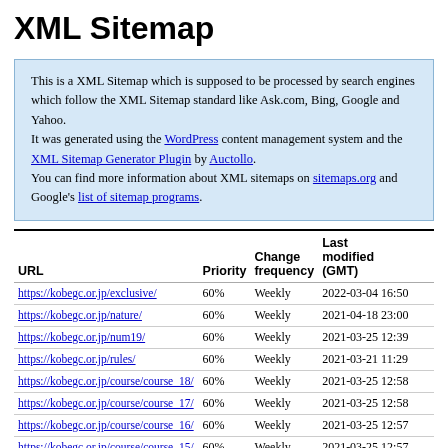XML Sitemap
This is a XML Sitemap which is supposed to be processed by search engines which follow the XML Sitemap standard like Ask.com, Bing, Google and Yahoo.
It was generated using the WordPress content management system and the XML Sitemap Generator Plugin by Auctollo.
You can find more information about XML sitemaps on sitemaps.org and Google's list of sitemap programs.
| URL | Priority | Change frequency | Last modified (GMT) |
| --- | --- | --- | --- |
| https://kobegc.or.jp/exclusive/ | 60% | Weekly | 2022-03-04 16:50 |
| https://kobegc.or.jp/nature/ | 60% | Weekly | 2021-04-18 23:00 |
| https://kobegc.or.jp/num19/ | 60% | Weekly | 2021-03-25 12:39 |
| https://kobegc.or.jp/rules/ | 60% | Weekly | 2021-03-21 11:29 |
| https://kobegc.or.jp/course/course_18/ | 60% | Weekly | 2021-03-25 12:58 |
| https://kobegc.or.jp/course/course_17/ | 60% | Weekly | 2021-03-25 12:58 |
| https://kobegc.or.jp/course/course_16/ | 60% | Weekly | 2021-03-25 12:57 |
| https://kobegc.or.jp/course/course_15/ | 60% | Weekly | 2021-03-25 12:57 |
| https://kobegc.or.jp/course/course_14/ | 60% | Weekly | 2021-03-25 12:57 |
| https://kobegc.or.jp/course/course_13/ | 60% | Weekly | 2021-03-25 12:57 |
| https://kobegc.or.jp/course/course_12/ | 60% | Weekly | 2021-03-25 12:57 |
| https://kobegc.or.jp/course/course_11/ | 60% | Weekly | 2021-03-25 12:56 |